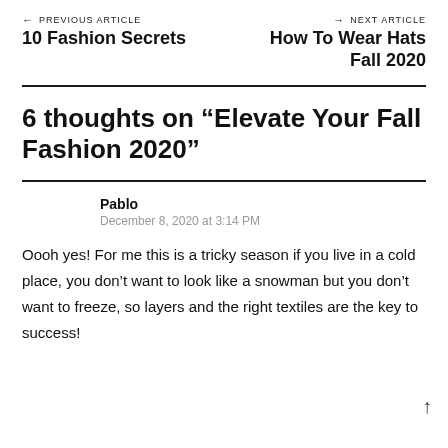← PREVIOUS ARTICLE
10 Fashion Secrets
NEXT ARTICLE →
How To Wear Hats Fall 2020
6 thoughts on “Elevate Your Fall Fashion 2020”
Pablo
December 8, 2020 at 3:14 PM
Oooh yes! For me this is a tricky season if you live in a cold place, you don’t want to look like a snowman but you don’t want to freeze, so layers and the right textiles are the key to success!